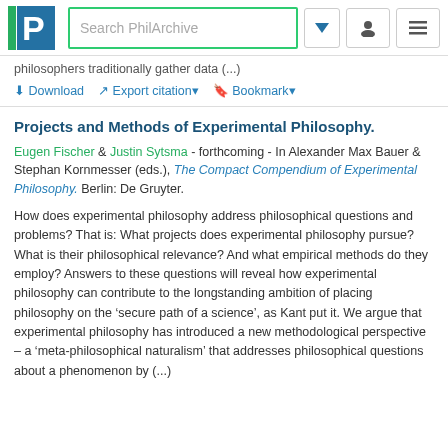Search PhilArchive
philosophers traditionally gather data (...)
Download   Export citation   Bookmark
Projects and Methods of Experimental Philosophy.
Eugen Fischer & Justin Sytsma - forthcoming - In Alexander Max Bauer & Stephan Kornmesser (eds.), The Compact Compendium of Experimental Philosophy. Berlin: De Gruyter.
How does experimental philosophy address philosophical questions and problems? That is: What projects does experimental philosophy pursue? What is their philosophical relevance? And what empirical methods do they employ? Answers to these questions will reveal how experimental philosophy can contribute to the longstanding ambition of placing philosophy on the ‘secure path of a science’, as Kant put it. We argue that experimental philosophy has introduced a new methodological perspective – a ‘meta-philosophical naturalism’ that addresses philosophical questions about a phenomenon by (...)